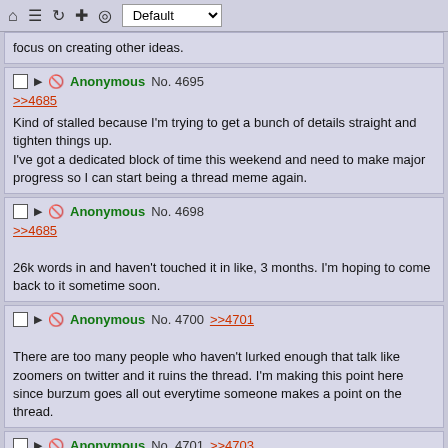Toolbar with home, menu, refresh, add, eye icons and Default dropdown
focus on creating other ideas.
Anonymous No. 4695
>>4685
Kind of stalled because I'm trying to get a bunch of details straight and tighten things up.
I've got a dedicated block of time this weekend and need to make major progress so I can start being a thread meme again.
Anonymous No. 4698
>>4685
26k words in and haven't touched it in like, 3 months. I'm hoping to come back to it sometime soon.
Anonymous No. 4700 >>4701
There are too many people who haven't lurked enough that talk like zoomers on twitter and it ruins the thread. I'm making this point here since burzum goes all out everytime someone makes a point on the thread.
Anonymous No. 4701 >>4703
>>4700